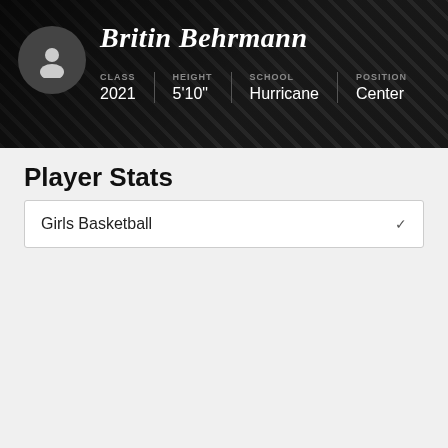Britin Behrmann | CLASS 2021 | HEIGHT 5'10" | SCHOOL Hurricane | POSITION Center
Player Stats
Girls Basketball
Basketball
| POINTS | 3PT | REBOUNDS |
| --- | --- | --- |
| 153 | 1 | 142 |